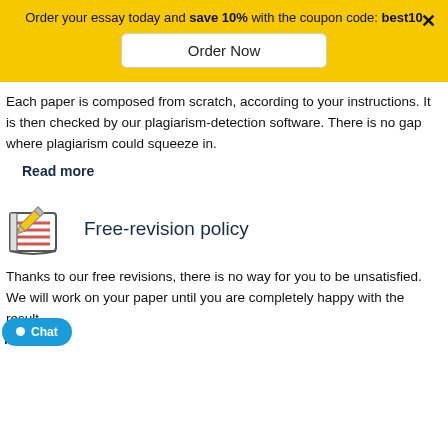Order your essay today and save 10% with the coupon code: best10
Order Now
Each paper is composed from scratch, according to your instructions. It is then checked by our plagiarism-detection software. There is no gap where plagiarism could squeeze in.
Read more
[Figure (illustration): Icon of a notebook with pencil, representing free-revision policy]
Free-revision policy
Thanks to our free revisions, there is no way for you to be unsatisfied. We will work on your paper until you are completely happy with the result.
Read more
Chat